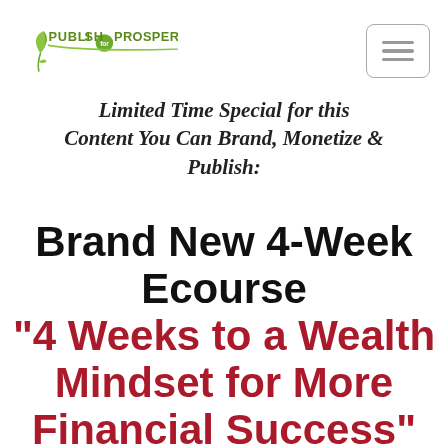[Figure (logo): Publish for Prosperity logo with leaf/plant motif in green and circular badge]
[Figure (other): Hamburger menu icon button with three horizontal lines inside a rounded rectangle border]
Limited Time Special for this Content You Can Brand, Monetize & Publish:
Brand New 4-Week Ecourse “4 Weeks to a Wealth Mindset for More Financial Success” with Private Label Rights